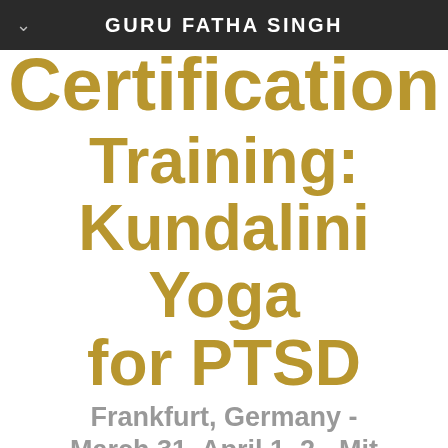GURU FATHA SINGH
Certification Training: Kundalini Yoga for PTSD
Frankfurt, Germany - March 31, April 1, 2 - Mit Uebersetzung (with translation)
Trainer: Guru Fatha Singh
For the German Version, click here. Für Deutsch, klicken Sie